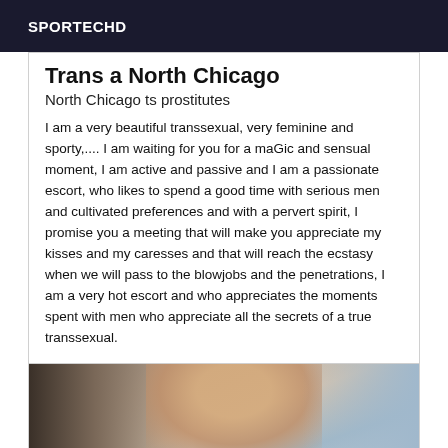SPORTECHD
Trans a North Chicago
North Chicago ts prostitutes
I am a very beautiful transsexual, very feminine and sporty,.... I am waiting for you for a maGic and sensual moment, I am active and passive and I am a passionate escort, who likes to spend a good time with serious men and cultivated preferences and with a pervert spirit, I promise you a meeting that will make you appreciate my kisses and my caresses and that will reach the ecstasy when we will pass to the blowjobs and the penetrations, I am a very hot escort and who appreciates the moments spent with men who appreciate all the secrets of a true transsexual.
[Figure (photo): Partial photo showing a person, cropped at bottom of page]